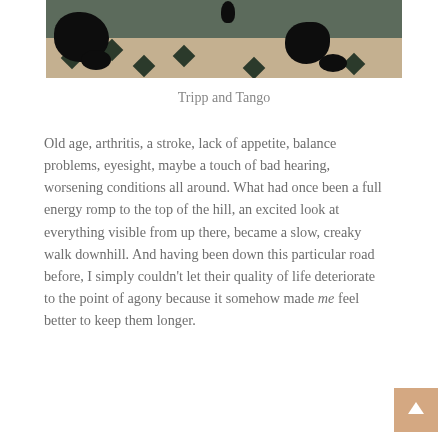[Figure (photo): A photo showing black fur of animals (cats or dogs named Tripp and Tango) with paws visible on a tile floor, against a dark green/grey background wall.]
Tripp and Tango
Old age, arthritis, a stroke, lack of appetite, balance problems, eyesight, maybe a touch of bad hearing, worsening conditions all around. What had once been a full energy romp to the top of the hill, an excited look at everything visible from up there, became a slow, creaky walk downhill. And having been down this particular road before, I simply couldn't let their quality of life deteriorate to the point of agony because it somehow made me feel better to keep them longer.